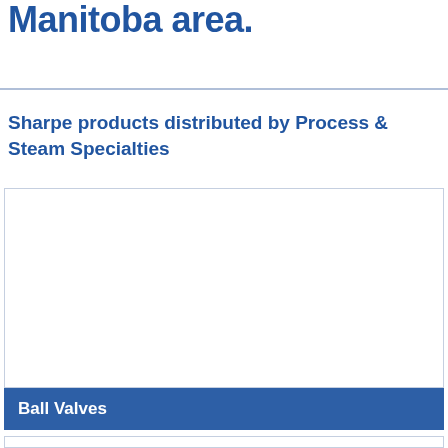Manitoba area.
Sharpe products distributed by Process & Steam Specialties
[Figure (other): Empty white box with border, likely placeholder for product image]
Ball Valves
[Figure (other): Partial empty box at bottom of page, likely start of next product section]